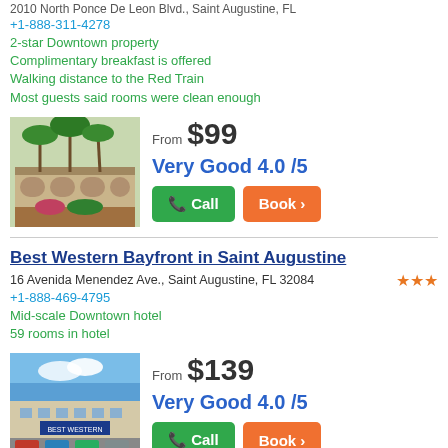2010 North Ponce De Leon Blvd., Saint Augustine, FL
+1-888-311-4278
2-star Downtown property
Complimentary breakfast is offered
Walking distance to the Red Train
Most guests said rooms were clean enough
[Figure (photo): Hotel exterior with palm trees and arched entrance]
From $99
Very Good 4.0 /5
Call | Book
Best Western Bayfront in Saint Augustine
16 Avenida Menendez Ave., Saint Augustine, FL 32084
+1-888-469-4795
Mid-scale Downtown hotel
59 rooms in hotel
[Figure (photo): Best Western Bayfront hotel exterior with parking lot and blue sky]
From $139
Very Good 4.0 /5
Call | Book